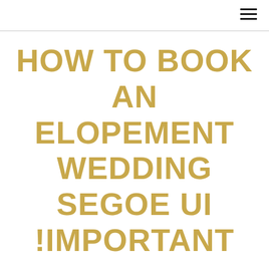HOW TO BOOK AN ELOPEMENT WEDDING SEGOE UI !IMPORTANT